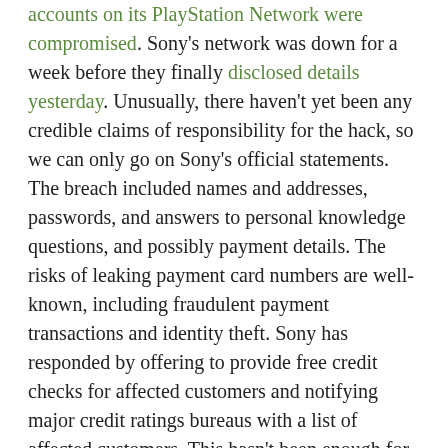accounts on its PlayStation Network were compromised. Sony's network was down for a week before they finally disclosed details yesterday. Unusually, there haven't yet been any credible claims of responsibility for the hack, so we can only go on Sony's official statements. The breach included names and addresses, passwords, and answers to personal knowledge questions, and possibly payment details. The risks of leaking payment card numbers are well-known, including fraudulent payment transactions and identity theft. Sony has responded by offering to provide free credit checks for affected customers and notifying major credit ratings bureaus with a list of affected customers. This hasn't been enough for many critics, including a US Senator.
Still, this is far more than Sony has done regarding the leaked passwords. The risks here are very real—hackers can attempt to re-use the compromised passwords (possibly after inverting hashes using brute-force) at many other